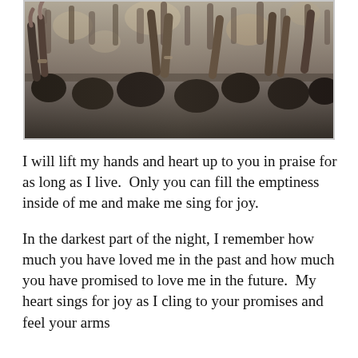[Figure (photo): A crowd of people at a worship or concert event, with many arms raised up in the air, photographed from behind.]
I will lift my hands and heart up to you in praise for as long as I live.  Only you can fill the emptiness inside of me and make me sing for joy.
In the darkest part of the night, I remember how much you have loved me in the past and how much you have promised to love me in the future.  My heart sings for joy as I cling to your promises and feel your arms